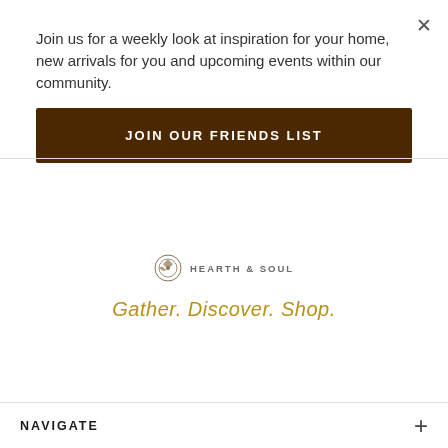×
Join us for a weekly look at inspiration for your home, new arrivals for you and upcoming events within our community.
JOIN OUR FRIENDS LIST
[Figure (logo): Hearth & Soul logo with decorative circular icon and text 'HEARTH & SOUL']
Gather. Discover. Shop.
NAVIGATE